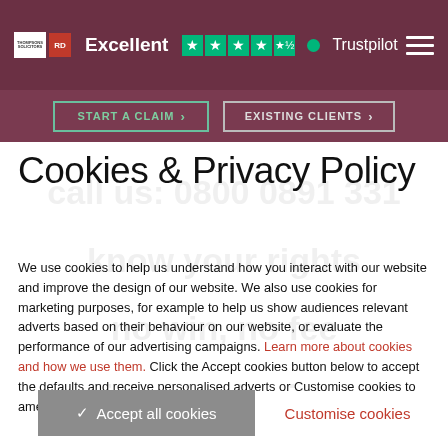Excellent ★★★★☆ Trustpilot
Cookies & Privacy Policy
We use cookies to help us understand how you interact with our website and improve the design of our website. We also use cookies for marketing purposes, for example to help us show audiences relevant adverts based on their behaviour on our website, or evaluate the performance of our advertising campaigns. Learn more about cookies and how we use them. Click the Accept cookies button below to accept the defaults and receive personalised adverts or Customise cookies to amend your preferences.